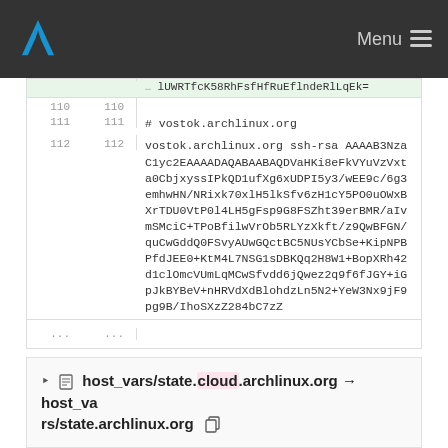Menu
lUWRTfcK58RhFsfHfRuEflndeRlLqEk=
110  110
111  111  # vostok.archlinux.org
112  112  vostok.archlinux.org ssh-rsa AAAAB3NzaC1yc2EAAAADAQABAABAQDVaHKi8eFkVYuVzVxta0CbjxyssIPkQD1ufXg6xUDPI5y3/wEE9c/6g3emhwHN/NRixk70xlH5lkSfv6zH1cY5PO0uOWxBXrTDU0VtP0l4LH5gFsp9G8FSZht39erBMR/aIvmSMciC+TPoBfilwVrOb5RLYzXkft/z9QwBFGN/quCwGddQ0FSvyAUwGQctBC5NUsYCbSe+KipNPBPfdJEE0+KtM4L7NSG1sDBKQq2H8W1+BopXRh42d1clOmcVUmLqMCwSfvdd6jQwez2q9f6fJGY+iGpJkBYBeV+nHRVdXdBlohdzLn5N2+YeW3Nx9jF9pg9B/IhoSXzZ284bC7zZ
... ...
host_vars/state.cloud.archlinux.org → host_vars/state.archlinux.org